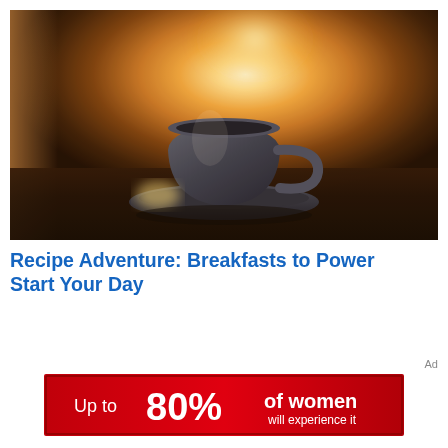[Figure (photo): A blue/grey ceramic coffee cup on a saucer, backlit by warm golden sunrise light through a window, on a dark table surface. Warm amber and golden tones fill the background.]
Recipe Adventure: Breakfasts to Power Start Your Day
Ad
[Figure (infographic): Red rectangular advertisement banner reading: Up to 80% of women will experience it]